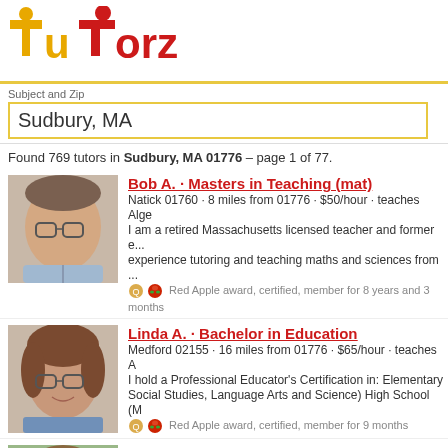[Figure (logo): TuTorz logo with golden T and red letters, small decorative balls above the T characters]
Subject and Zip
Sudbury, MA
Found 769 tutors in Sudbury, MA 01776 – page 1 of 77.
[Figure (photo): Photo of Bob A., male tutor with glasses]
Bob A. · Masters in Teaching (mat)
Natick 01760 · 8 miles from 01776 · $50/hour · teaches Alge...
I am a retired Massachusetts licensed teacher and former e... experience tutoring and teaching maths and sciences from ...
Red Apple award, certified, member for 8 years and 3 months
[Figure (photo): Photo of Linda A., female tutor with glasses]
Linda A. · Bachelor in Education
Medford 02155 · 16 miles from 01776 · $65/hour · teaches A...
I hold a Professional Educator's Certification in: Elementary... Social Studies, Language Arts and Science) High School (M...
Red Apple award, certified, member for 9 months
[Figure (photo): Photo of Janet M., female tutor]
Janet M.
Acton 01720 · 7 miles from 01776 · $60/hour · teaches ADD...